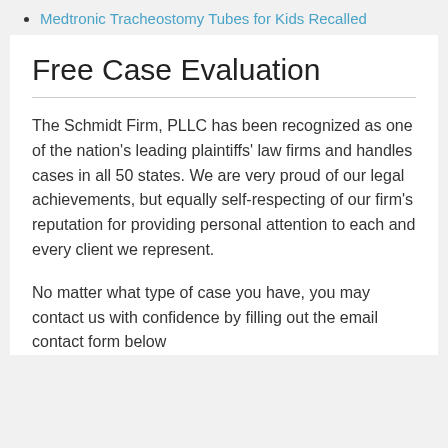Medtronic Tracheostomy Tubes for Kids Recalled
Free Case Evaluation
The Schmidt Firm, PLLC has been recognized as one of the nation's leading plaintiffs' law firms and handles cases in all 50 states. We are very proud of our legal achievements, but equally self-respecting of our firm's reputation for providing personal attention to each and every client we represent.
No matter what type of case you have, you may contact us with confidence by filling out the email contact form below